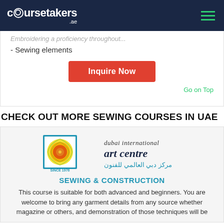coursetakers.ae
- Sewing elements
Inquire Now
Go on Top
CHECK OUT MORE SEWING COURSES IN UAE
[Figure (logo): Dubai International Art Centre logo - circular yellow/orange swirl design with blue border, text 'dubai international art centre' and Arabic text, 'SINCE 1976']
SEWING & CONSTRUCTION
This course is suitable for both advanced and beginners. You are welcome to bring any garment details from any source whether magazine or others, and demonstration of those techniques will be